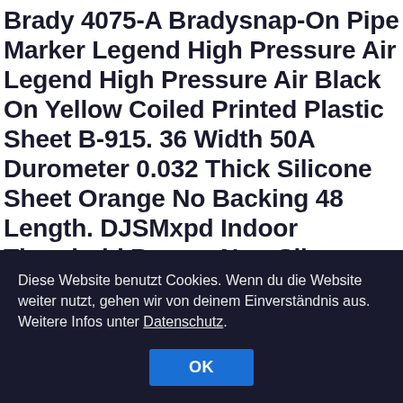Brady 4075-A Bradysnap-On Pipe Marker Legend High Pressure Air Legend High Pressure Air Black On Yellow Coiled Printed Plastic Sheet B-915. 36 Width 50A Durometer 0.032 Thick Silicone Sheet Orange No Backing 48 Length. DJSMxpd Indoor Threshold Ramps Non-Slip Rubber Ramps Trolley Scooter Service Ramps Better Load Bearing Capacity Size : 100103CM, Decoration Wallplate Spring Summer Green Cherry Branch Cherry Blossom Double Outlet Wall Plate/Panel Plate/Cover Light Panel Cover 2-Gang Device
Diese Website benutzt Cookies. Wenn du die Website weiter nutzt, gehen wir von deinem Einverständnis aus. Weitere Infos unter Datenschutz.